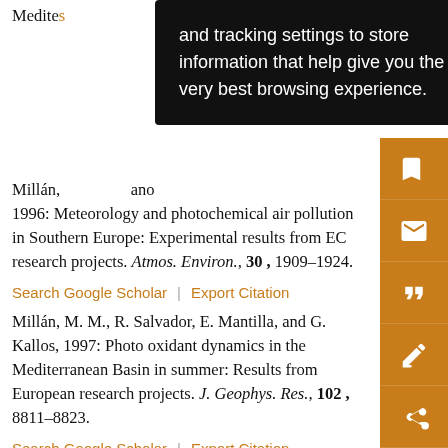Medite… and tracking settings to store information that help give you the very best browsing experience.
Millán, M. M., …ano, 1996: Meteorology and photochemical air pollution in Southern Europe: Experimental results from EC research projects. Atmos. Environ., 30, 1909–1924.
Search Google Scholar | Export Citation
Millán, M. M., R. Salvador, E. Mantilla, and G. Kallos, 1997: Photo oxidant dynamics in the Mediterranean Basin in summer: Results from European research projects. J. Geophys. Res., 102, 8811–8823.
Search Google Scholar | Export Citation